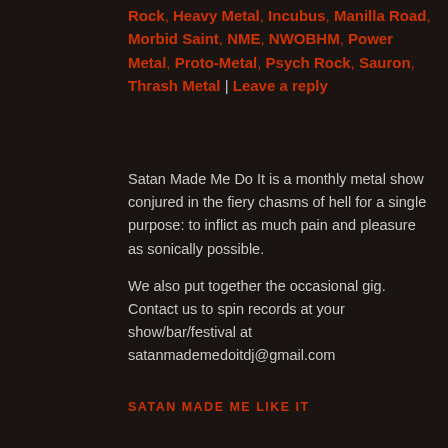Rock, Heavy Metal, Incubus, Manilla Road, Morbid Saint, NME, NWOBHM, Power Metal, Proto-Metal, Psych Rock, Sauron, Thrash Metal | Leave a reply
Satan Made Me Do It is a monthly metal show conjured in the fiery chasms of hell for a single purpose: to inflict as much pain and pleasure as sonically possible.
We also put together the occasional gig. Contact us to spin records at your show/bar/festival at satanmademedoitdj@gmail.com
SATAN MADE ME LIKE IT
RSS FEED
An error has occurred; the feed is probably down. Try again later.
ARCHIVES